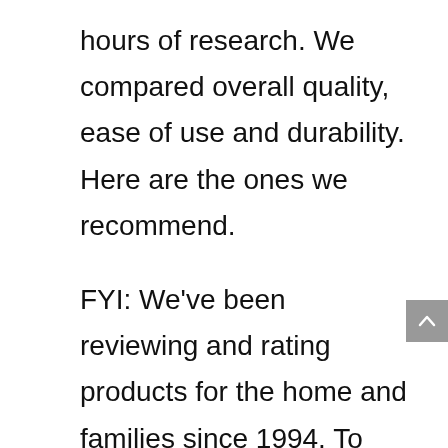hours of research. We compared overall quality, ease of use and durability. Here are the ones we recommend.
FYI: We've been reviewing and rating products for the home and families since 1994. To keep things independent, we don't take money or freebies from brands we review!